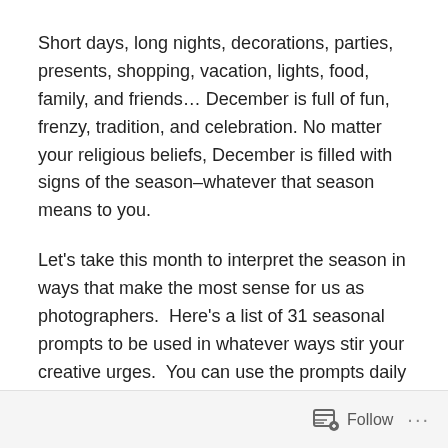Short days, long nights, decorations, parties, presents, shopping, vacation, lights, food, family, and friends… December is full of fun, frenzy, tradition, and celebration. No matter your religious beliefs, December is filled with signs of the season–whatever that season means to you.
Let's take this month to interpret the season in ways that make the most sense for us as photographers.  Here's a list of 31 seasonal prompts to be used in whatever ways stir your creative urges.  You can use the prompts daily in the order they are displayed…or you can pick one to use all month, you can mix and match them, combine them, focus a week on one or two…it is totally up to you!
Be sure to post a photo each day with the hashtag
Follow